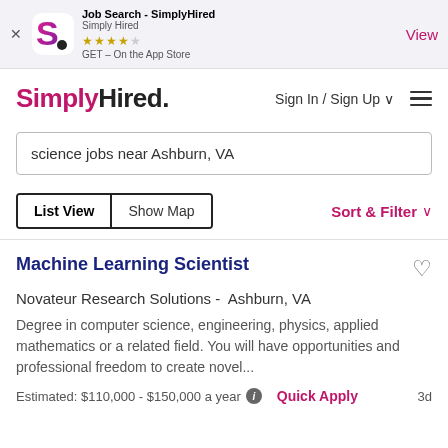[Figure (screenshot): SimplyHired app store banner with logo, star rating, and View button]
SimplyHired.
Sign In / Sign Up ▾
science jobs near Ashburn, VA
List View   Show Map
Sort & Filter ▾
Machine Learning Scientist
Novateur Research Solutions -  Ashburn, VA
Degree in computer science, engineering, physics, applied mathematics or a related field. You will have opportunities and professional freedom to create novel...
Estimated: $110,000 - $150,000 a year  ℹ  Quick Apply   3d